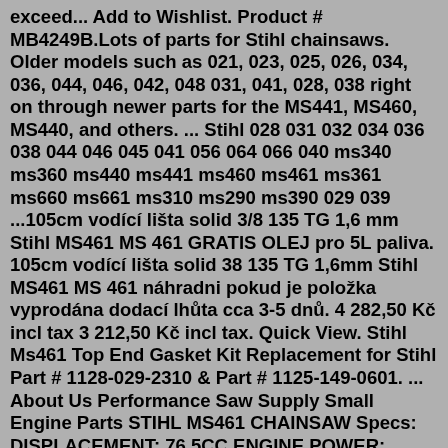exceed... Add to Wishlist. Product # MB4249B.Lots of parts for Stihl chainsaws. Older models such as 021, 023, 025, 026, 034, 036, 044, 046, 042, 048 031, 041, 028, 038 right on through newer parts for the MS441, MS460, MS440, and others. ... Stihl 028 031 032 034 036 038 044 046 045 041 056 064 066 040 ms340 ms360 ms440 ms441 ms460 ms461 ms361 ms660 ms661 ms310 ms290 ms390 029 039 ...105cm vodící lišta solid 3/8 135 TG 1,6 mm Stihl MS461 MS 461 GRATIS OLEJ pro 5L paliva. 105cm vodící lišta solid 38 135 TG 1,6mm Stihl MS461 MS 461 náhradni pokud je položka vyprodána dodací lhůta cca 3-5 dnů. 4 282,50 Kč incl tax 3 212,50 Kč incl tax. Quick View. Stihl Ms461 Top End Gasket Kit Replacement for Stihl Part # 1128-029-2310 & Part # 1125-149-0601. ... About Us Performance Saw Supply Small Engine Parts STIHL MS461 CHAINSAW Specs: DISPLACEMENT: 76.5CC ENGINE POWER: 4.4KW /6.0HP POWERHEAD WEIGHT: 6.7KG BAR LENGTH: 25″ Oilmatic Saw Chain Pitch: 3/8″ Oilmatic Saw Chain Type: Rapid Super (RS) U...